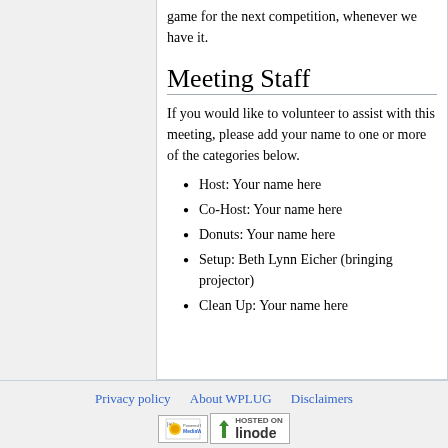game for the next competition, whenever we have it.
Meeting Staff
If you would like to volunteer to assist with this meeting, please add your name to one or more of the categories below.
Host: Your name here
Co-Host: Your name here
Donuts: Your name here
Setup: Beth Lynn Eicher (bringing projector)
Clean Up: Your name here
Privacy policy   About WPLUG   Disclaimers